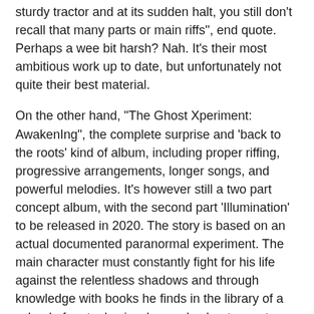sturdy tractor and at its sudden halt, you still don't recall that many parts or main riffs", end quote. Perhaps a wee bit harsh? Nah. It's their most ambitious work up to date, but unfortunately not quite their best material.
On the other hand, "The Ghost Xperiment: AwakenIng", the complete surprise and 'back to the roots' kind of album, including proper riffing, progressive arrangements, longer songs, and powerful melodies. It's however still a two part concept album, with the second part 'Illumination' to be released in 2020. The story is based on an actual documented paranormal experiment. The main character must constantly fight for his life against the relentless shadows and through knowledge with books he finds in the library of a school of metaphysics, he reads about secret teachers and parapsychological experiments, which become an important foundation from which he can fight against the creatures of darkness. Yes, well... excellent?
This time around the focus has shifted more on to the actual compositions and away from the orchestrations. Everything from the opening track of "Cold December Night" to the closing title track has a prominent role...